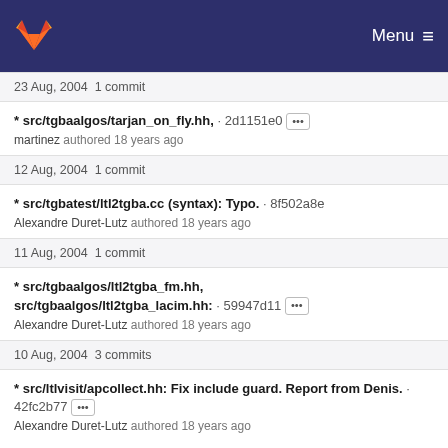Menu
23 Aug, 2004 1 commit
* src/tgbaalgos/tarjan_on_fly.hh, · 2d1151e0 [...] martinez authored 18 years ago
12 Aug, 2004 1 commit
* src/tgbatest/ltl2tgba.cc (syntax): Typo. · 8f502a8e Alexandre Duret-Lutz authored 18 years ago
11 Aug, 2004 1 commit
* src/tgbaalgos/ltl2tgba_fm.hh, src/tgbaalgos/ltl2tgba_lacim.hh: · 59947d11 [...] Alexandre Duret-Lutz authored 18 years ago
10 Aug, 2004 3 commits
* src/ltlvisit/apcollect.hh: Fix include guard. Report from Denis. · 42fc2b77 [...] Alexandre Duret-Lutz authored 18 years ago